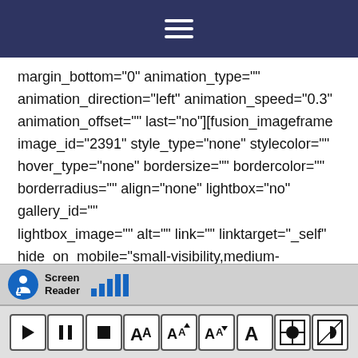Navigation menu (hamburger icon)
margin_bottom="0" animation_type="" animation_direction="left" animation_speed="0.3" animation_offset="" last="no"][fusion_imageframe image_id="2391" style_type="none" stylecolor="" hover_type="none" bordersize="" bordercolor="" borderradius="" align="none" lightbox="no" gallery_id="" lightbox_image="" alt="" link="" linktarget="_self" hide_on_mobile="small-visibility,medium-visibility,large-visibility" class="" id="" animation_type="" animation_direction="left" animation_speed="0.3" animation_offset=""]http://thefamilycentre.org.au/wp-content/uploads/2017/07/about-us-img
[Figure (screenshot): Screen Reader toolbar with play, pause, stop, font size controls, and display options]